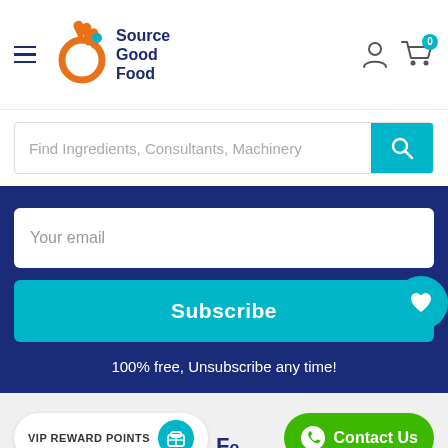[Figure (logo): Source Good Food logo with orange hand OK sign and teal leaf, navy text 'Source Good Food']
Find Ingredients, Consultants, Machinery
Your email
Subscribe
100% free, Unsubscribe any time!
VIP REWARD POINTS
Contact Us